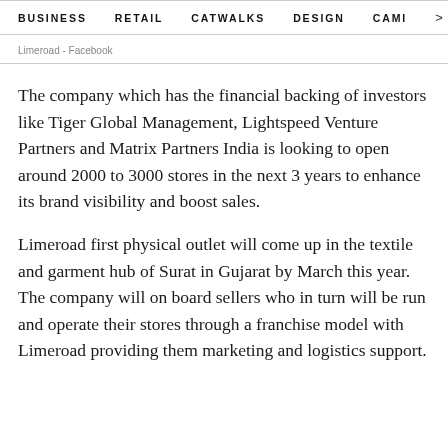BUSINESS   RETAIL   CATWALKS   DESIGN   CAMI  >
Limeroad - Facebook
The company which has the financial backing of investors like Tiger Global Management, Lightspeed Venture Partners and Matrix Partners India is looking to open around 2000 to 3000 stores in the next 3 years to enhance its brand visibility and boost sales.
Limeroad first physical outlet will come up in the textile and garment hub of Surat in Gujarat by March this year. The company will on board sellers who in turn will be run and operate their stores through a franchise model with Limeroad providing them marketing and logistics support.